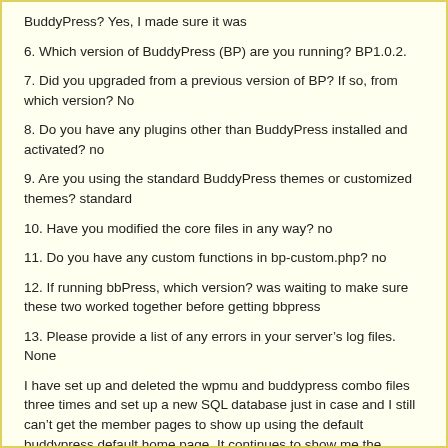BuddyPress? Yes, I made sure it was
6. Which version of BuddyPress (BP) are you running? BP1.0.2.
7. Did you upgraded from a previous version of BP? If so, from which version? No
8. Do you have any plugins other than BuddyPress installed and activated? no
9. Are you using the standard BuddyPress themes or customized themes? standard
10. Have you modified the core files in any way? no
11. Do you have any custom functions in bp-custom.php? no
12. If running bbPress, which version? was waiting to make sure these two worked together before getting bbpress
13. Please provide a list of any errors in your server’s log files. None
I have set up and deleted the wpmu and buddypress combo files three times and set up a new SQL database just in case and I still can’t get the member pages to show up using the default buddypress default home page. It continues to show me the following:
You do not have any BuddyPress themes installed.